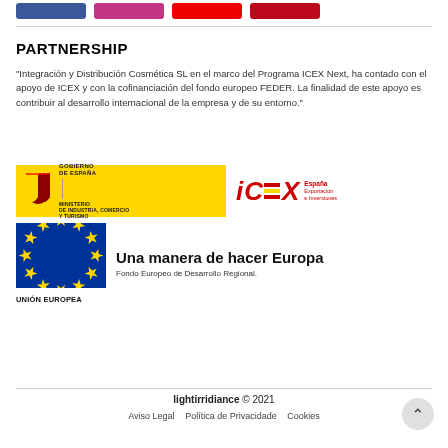[Figure (other): Social media buttons: Facebook, Instagram, YouTube, Pinterest]
PARTNERSHIP
"Integración y Distribución Cosmética SL en el marco del Programa ICEX Next, ha contado con el apoyo de ICEX y con la cofinanciación del fondo europeo FEDER. La finalidad de este apoyo es contribuir al desarrollo internacional de la empresa y de su entorno."
[Figure (logo): Gobierno de España / Ministerio de Industria, Comercio y Turismo logo (yellow background with shield)]
[Figure (logo): ICEX España Exportación e Inversiones logo]
[Figure (logo): European Union flag with 'Una manera de hacer Europa / Fondo Europeo de Desarrollo Regional' text and UNIÓN EUROPEA label]
lightirridiance © 2021   Aviso Legal   Política de Privacidade   Cookies